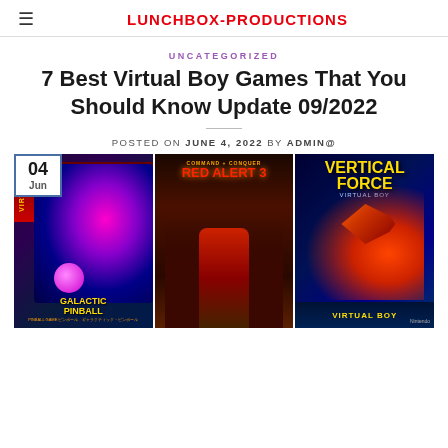LUNCHBOX-PRODUCTIONS
UNCATEGORIZED
7 Best Virtual Boy Games That You Should Know Update 09/2022
POSTED ON JUNE 4, 2022 BY ADMIN@
[Figure (photo): Three video game covers side by side: Galactic Pinball (Virtual Boy), Command & Conquer Red Alert 3, and Vertical Force (Virtual Boy / Nintendo). A date badge showing 04 Jun overlays the top-left corner.]